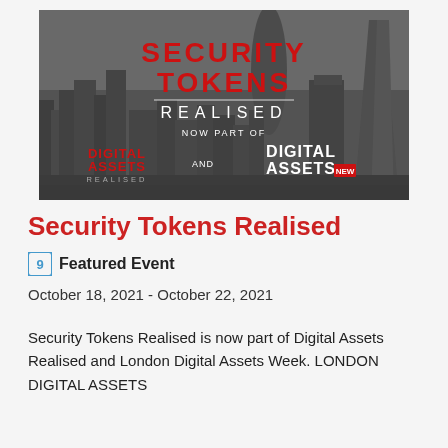[Figure (illustration): Banner image showing London skyline in dark/muted tones with overlaid logos and text: 'SECURITY TOKENS REALISED' in large red and white text, 'NOW PART OF', 'DIGITAL ASSETS REALISED' logo and 'AND DIGITAL ASSETS' logo with a colored highlight.]
Security Tokens Realised
Featured Event
October 18, 2021 - October 22, 2021
Security Tokens Realised is now part of Digital Assets Realised and London Digital Assets Week. LONDON DIGITAL ASSETS